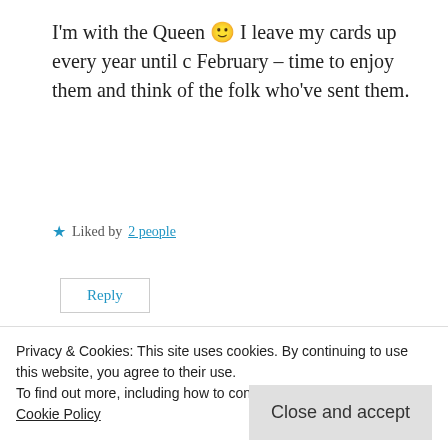I'm with the Queen 🙂 I leave my cards up every year until c February – time to enjoy them and think of the folk who've sent them.
★ Liked by 2 people
Reply
Laurie Graves
Privacy & Cookies: This site uses cookies. By continuing to use this website, you agree to their use.
To find out more, including how to control cookies, see here:
Cookie Policy
Close and accept
even though it sometimes seems as though it